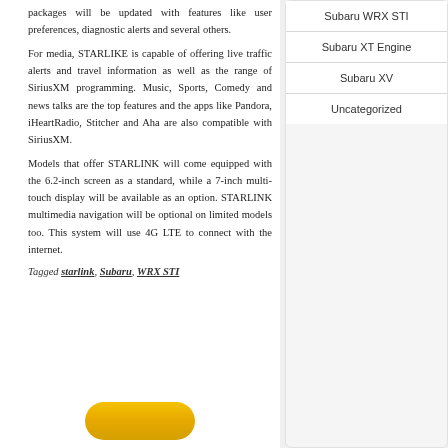packages will be updated with features like user preferences, diagnostic alerts and several others.
For media, STARLIKE is capable of offering live traffic alerts and travel information as well as the range of SiriusXM programming. Music, Sports, Comedy and news talks are the top features and the apps like Pandora, iHeartRadio, Stitcher and Aha are also compatible with SiriusXM.
Models that offer STARLINK will come equipped with the 6.2-inch screen as a standard, while a 7-inch multi-touch display will be available as an option. STARLINK multimedia navigation will be optional on limited models too. This system will use 4G LTE to connect with the internet.
Tagged starlink, Subaru, WRX STI
Subaru WRX STI
Subaru XT Engine
Subaru XV
Uncategorized